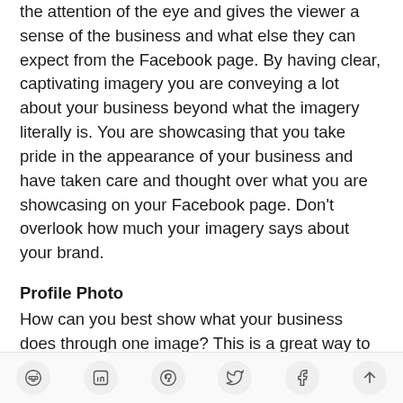the attention of the eye and gives the viewer a sense of the business and what else they can expect from the Facebook page. By having clear, captivating imagery you are conveying a lot about your business beyond what the imagery literally is. You are showcasing that you take pride in the appearance of your business and have taken care and thought over what you are showcasing on your Facebook page. Don't overlook how much your imagery says about your brand.
Profile Photo
How can you best show what your business does through one image? This is a great way to approach the profile picture. Think of it as though your profile image is a visual advert for your
social share toolbar